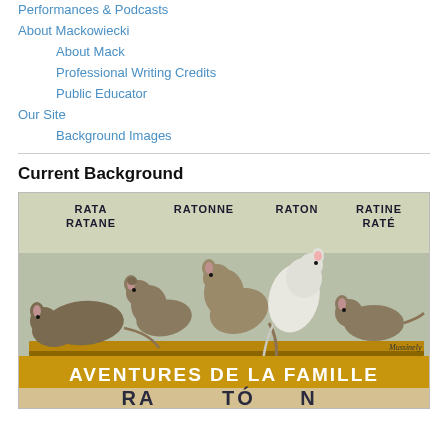Performances & Podcasts
About Mackowiecki
About Mack
Professional Writing Credits
Public Educator
Our Site
Background Images
Current Background
[Figure (illustration): Vintage French illustration showing five rats on a ledge with labels RATA RATANE, RATONNE, RATON, RATINE RATÉ above them and text AVENTURES DE LA FAMILLE RATON below]